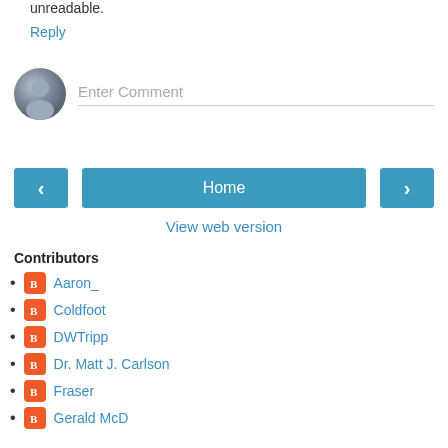unreadable.
Reply
[Figure (illustration): Comment input area with circular avatar icon and placeholder text 'Enter Comment' with underline]
[Figure (other): Navigation row with left arrow button, Home button, and right arrow button]
View web version
Contributors
Aaron_
Coldfoot
DWTripp
Dr. Matt J. Carlson
Fraser
Gerald McD